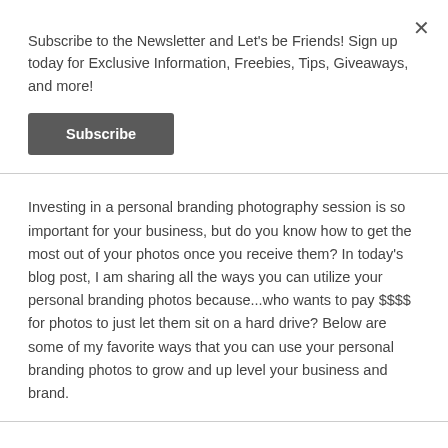Subscribe to the Newsletter and Let's be Friends! Sign up today for Exclusive Information, Freebies, Tips, Giveaways, and more!
Subscribe
Investing in a personal branding photography session is so important for your business, but do you know how to get the most out of your photos once you receive them? In today's blog post, I am sharing all the ways you can utilize your personal branding photos because...who wants to pay $$$$ for photos to just let them sit on a hard drive? Below are some of my favorite ways that you can use your personal branding photos to grow and up level your business and brand.